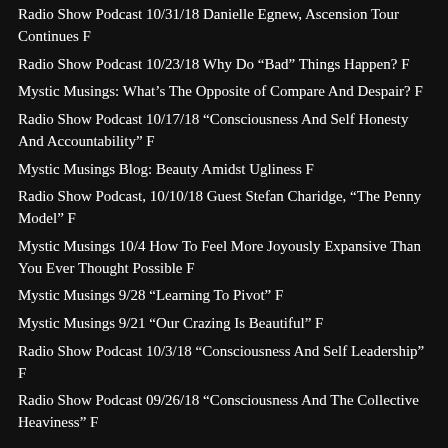Radio Show Podcast 10/31/18 Danielle Egnew, Ascension Tour Continues F
Radio Show Podcast 10/23/18 Why Do “Bad” Things Happen? F
Mystic Musings: What’s The Opposite of Compare And Despair? F
Radio Show Podcast 10/17/18 “Consciousness And Self Honesty And Accountability” F
Mystic Musings Blog: Beauty Amidst Ugliness F
Radio Show Podcast, 10/10/18 Guest Stefan Charidge, “The Penny Model” F
Mystic Musings 10/4 How To Feel More Joyously Expansive Than You Ever Thought Possible F
Mystic Musings 9/28 “Learning To Pivot” F
Mystic Musings 9/21 “Our Crazing Is Beautiful” F
Radio Show Podcast 10/3/18 “Consciousness And Self Leadership” F
Radio Show Podcast 09/26/18 “Consciousness And The Collective Heaviness” F